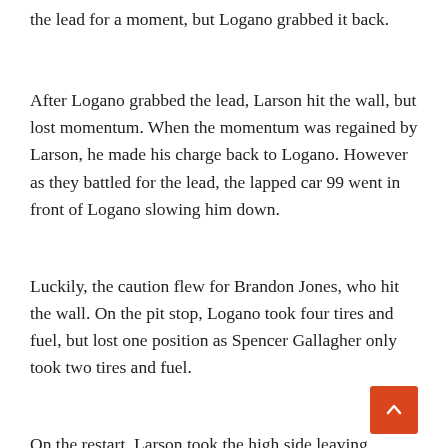the lead for a moment, but Logano grabbed it back.
After Logano grabbed the lead, Larson hit the wall, but lost momentum. When the momentum was regained by Larson, he made his charge back to Logano. However as they battled for the lead, the lapped car 99 went in front of Logano slowing him down.
Luckily, the caution flew for Brandon Jones, who hit the wall. On the pit stop, Logano took four tires and fuel, but lost one position as Spencer Gallagher only took two tires and fuel.
On the restart, Larson took the high side leaving Logano with Gallagher in front of him. Gallagher did not go on the